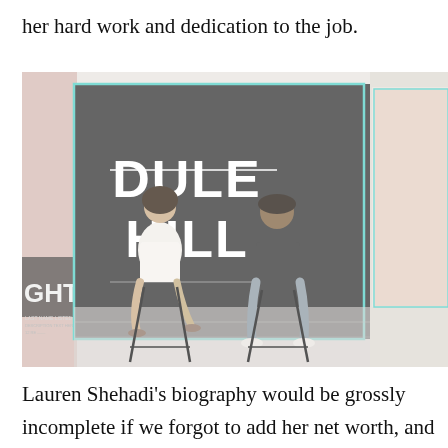her hard work and dedication to the job.
[Figure (photo): Two people seated on bar stools in a TV studio set. A large screen behind them displays 'DULE HILL' in white bold text on a dark background. A woman in white is on the left; a man in dark clothing is on the right. Partial text 'GHT' is visible on the left edge.]
Lauren Shehadi's biography would be grossly incomplete if we forgot to add her net worth, and since the next page turns ...